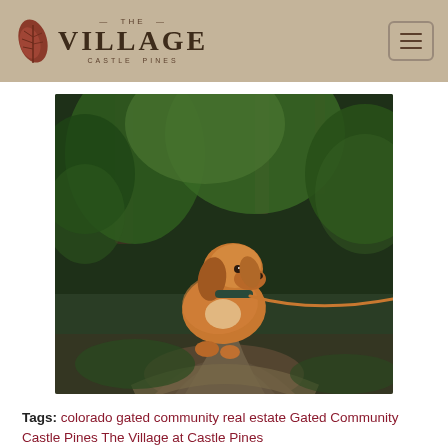— THE — VILLAGE CASTLE PINES
[Figure (photo): A golden/cocker spaniel dog sitting on a dirt trail in a lush green forest, on a leash, looking upward]
Tags: colorado gated community real estate Gated Community Castle Pines The Village at Castle Pines